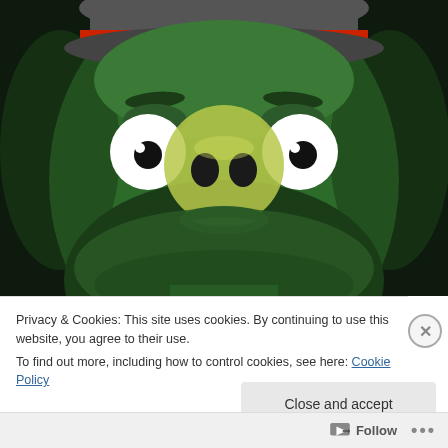[Figure (photo): A person's face painted green with cartoon pig features overlaid — large cartoon eyes on cheeks, a large round yellow pig snout over the nose, wearing a gray and red hat at the top. The face has a green beard. The style resembles the Angry Birds pig character.]
Privacy & Cookies: This site uses cookies. By continuing to use this website, you agree to their use.
To find out more, including how to control cookies, see here: Cookie Policy
Close and accept
Follow